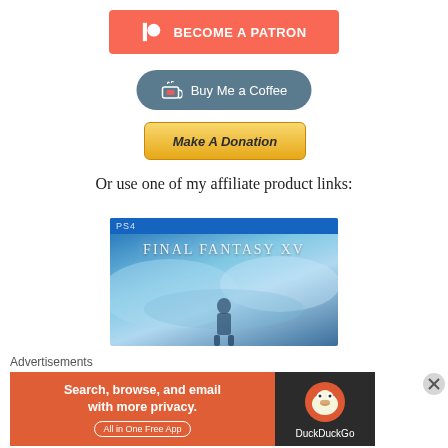[Figure (logo): Patreon 'Become a Patron' button - red/coral background with white Patreon logo icon and bold white text]
[Figure (logo): Buy Me a Coffee button - teal rounded pill with coffee cup icon and white text]
[Figure (logo): Make A Donation button - gold/yellow gradient with dark italic bold text]
Or use one of my affiliate product links:
[Figure (photo): Final Fantasy XV PS4 game cover art with blue sky/clouds background and game title text]
Advertisements
[Figure (screenshot): DuckDuckGo advertisement banner: orange background with 'Search, browse, and email with more privacy. All in One Free App' and DuckDuckGo duck logo on dark right panel]